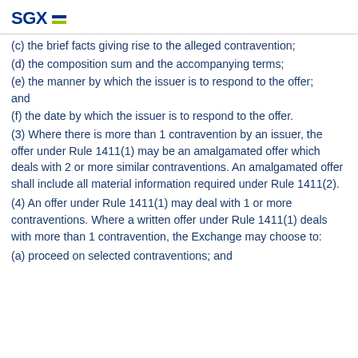SGX
(c) the brief facts giving rise to the alleged contravention;
(d) the composition sum and the accompanying terms;
(e) the manner by which the issuer is to respond to the offer; and
(f) the date by which the issuer is to respond to the offer.
(3) Where there is more than 1 contravention by an issuer, the offer under Rule 1411(1) may be an amalgamated offer which deals with 2 or more similar contraventions. An amalgamated offer shall include all material information required under Rule 1411(2).
(4) An offer under Rule 1411(1) may deal with 1 or more contraventions. Where a written offer under Rule 1411(1) deals with more than 1 contravention, the Exchange may choose to:
(a) proceed on selected contraventions; and